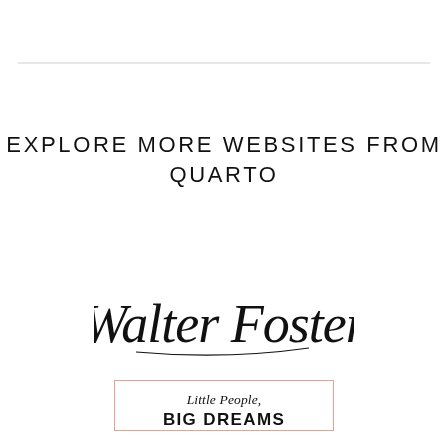EXPLORE MORE WEBSITES FROM QUARTO
[Figure (logo): Walter Foster cursive/script handwritten logo in black ink]
[Figure (logo): Little People, BIG DREAMS logo with pink border box showing the book series name]